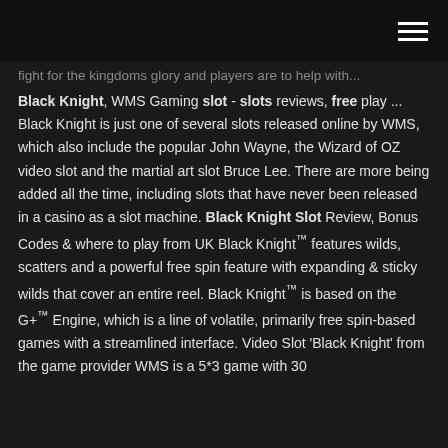fight for the kingdoms glory and players are to help with...
Black Knight, WMS Gaming slot - slots reviews, free play ... Black Knight is just one of several slots released online by WMS, which also include the popular John Wayne, the Wizard of OZ video slot and the martial art slot Bruce Lee. There are more being added all the time, including slots that have never been released in a casino as a slot machine. Black Knight Slot Review, Bonus Codes & where to play from UK Black Knight™ features wilds, scatters and a powerful free spin feature with expanding & sticky wilds that cover an entire reel. Black Knight™ is based on the G+™ Engine, which is a line of volatile, primarily free spin-based games with a streamlined interface. Video Slot 'Black Knight' from the game provider WMS is a 5*3 game with 30